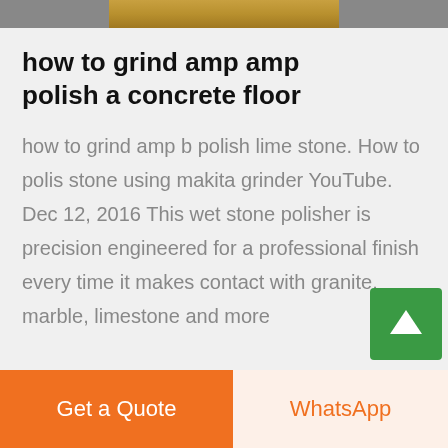[Figure (photo): Partial top strip of a photo showing what appears to be stone or concrete material]
how to grind amp amp polish a concrete floor
how to grind amp b polish lime stone. How to polis stone using makita grinder YouTube. Dec 12, 2016 This wet stone polisher is precision engineered for a professional finish every time it makes contact with granite, marble, limestone and more
[Figure (illustration): Live Chat speech bubble icon in teal/dark blue]
[Figure (illustration): Scroll to top button - green square with upward arrow]
Get a Quote   WhatsApp